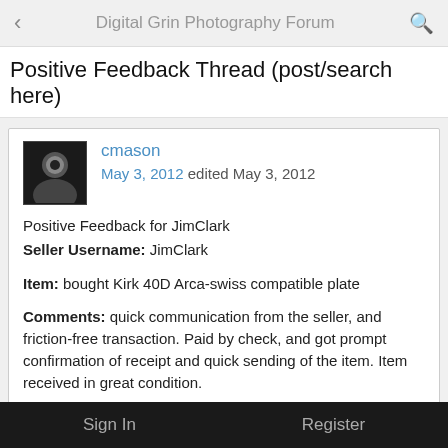Digital Grin Photography Forum
Positive Feedback Thread (post/search here)
cmason
May 3, 2012 edited May 3, 2012

Positive Feedback for JimClark
Seller Username: JimClark

Item: bought Kirk 40D Arca-swiss compatible plate

Comments: quick communication from the seller, and friction-free transaction. Paid by check, and got prompt confirmation of receipt and quick sending of the item. Item received in great condition.

Thanks Jim!
Sign In   Register